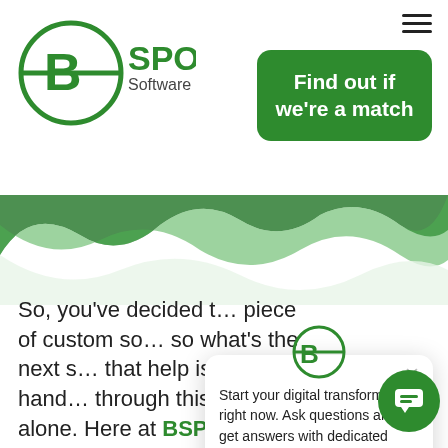[Figure (logo): BSPOKE Software logo — circular B icon with horizontal line through it, green color, with text 'BSPOKE Software' beside it]
[Figure (other): Green CTA button with white text: 'Find out if we're a match']
[Figure (other): Green and light-green wave decorative banner]
So, you've decided t... piece of custom so... so what's the next s... that help is at hand... through this process alone. Here at BSPOKE Software, we can support you through every step of the software development proce... By following these steps below, you'll be well...
[Figure (other): Chat popup widget with BSPOKE logo at top, close X button, and text: 'Start your digital transformation right now. Ask questions and get answers with dedicated consultants ready to chat right now.']
[Figure (other): Green circular chat bubble button at bottom right corner]